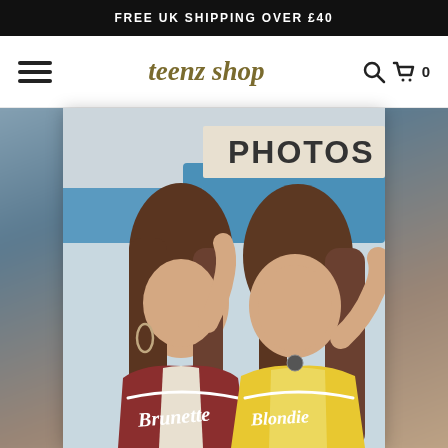FREE UK SHIPPING OVER £40
teenz shop
[Figure (photo): Two young women wearing graphic tops — left model in a dark red/burgundy 'Brunette' top, right model in a yellow 'Blondie' top, photographed outdoors in front of a sign reading 'PHOTOS']